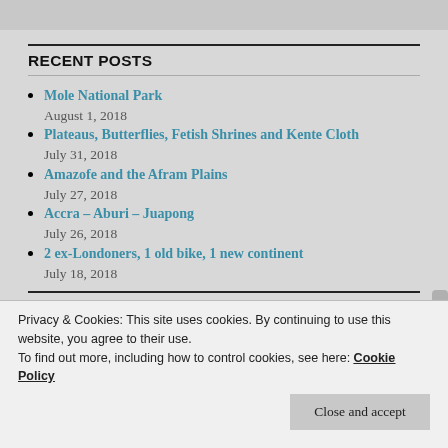RECENT POSTS
Mole National Park
August 1, 2018
Plateaus, Butterflies, Fetish Shrines and Kente Cloth
July 31, 2018
Amazofe and the Afram Plains
July 27, 2018
Accra – Aburi – Juapong
July 26, 2018
2 ex-Londoners, 1 old bike, 1 new continent
July 18, 2018
Privacy & Cookies: This site uses cookies. By continuing to use this website, you agree to their use.
To find out more, including how to control cookies, see here: Cookie Policy